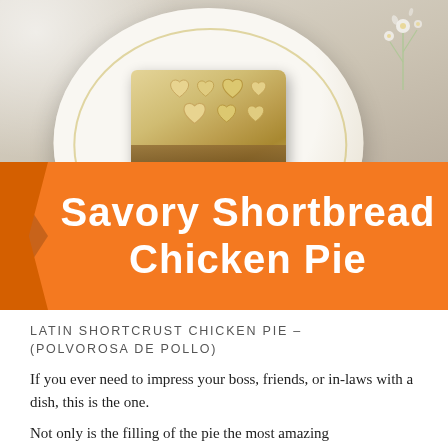[Figure (photo): A slice of savory shortbread chicken pie served on an elegant white plate with gold rim, decorated with heart-shaped pastry cutouts on top. White flowers visible in background. Orange banner overlay with white bold text reading 'Savory Shortbread Chicken Pie'.]
LATIN SHORTCRUST CHICKEN PIE – (POLVOROSA DE POLLO)
If you ever need to impress your boss, friends, or in-laws with a dish, this is the one.
Not only is the filling of the pie the most amazing